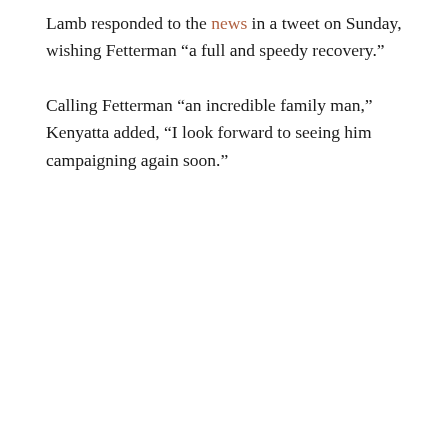Lamb responded to the news in a tweet on Sunday, wishing Fetterman “a full and speedy recovery.”
Calling Fetterman “an incredible family man,” Kenyatta added, “I look forward to seeing him campaigning again soon.”